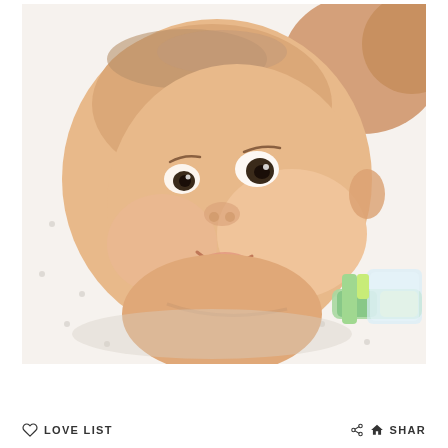[Figure (photo): Close-up photo of a smiling Asian baby lying on a white polka-dot fabric surface, with a green and white pacifier/baby item visible in the lower right corner.]
LOVE LIST
SHARE